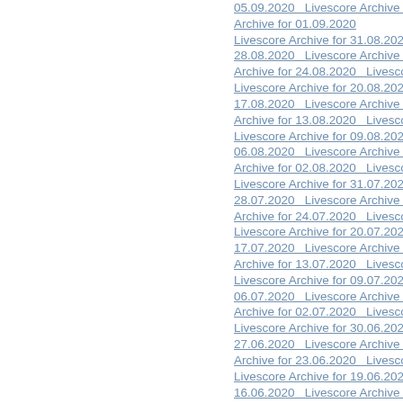05.09.2020   Livescore Archive for 04.09.202…
Archive for 01.09.2020
Livescore Archive for 31.08.2020   Livescore…
28.08.2020   Livescore Archive for 27.08.202…
Archive for 24.08.2020   Livescore Archive fo…
Livescore Archive for 20.08.2020   Livescore…
17.08.2020   Livescore Archive for 16.08.202…
Archive for 13.08.2020   Livescore Archive fo…
Livescore Archive for 09.08.2020   Livescore…
06.08.2020   Livescore Archive for 05.08.202…
Archive for 02.08.2020   Livescore Archive for…
Livescore Archive for 31.07.2020   Livescore…
28.07.2020   Livescore Archive for 27.07.202…
Archive for 24.07.2020   Livescore Archive fo…
Livescore Archive for 20.07.2020   Livescore…
17.07.2020   Livescore Archive for 16.07.202…
Archive for 13.07.2020   Livescore Archive fo…
Livescore Archive for 09.07.2020   Livescore…
06.07.2020   Livescore Archive for 05.07.202…
Archive for 02.07.2020   Livescore Archive for…
Livescore Archive for 30.06.2020   Livescore…
27.06.2020   Livescore Archive for 26.06.202…
Archive for 23.06.2020   Livescore Archive fo…
Livescore Archive for 19.06.2020   Livescore…
16.06.2020   Livescore Archive for 15.06.202…
Archive for 12.06.2020   Livescore Archive fo…